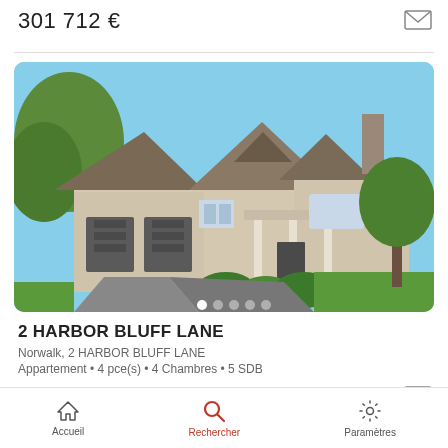301 712 €
[Figure (photo): Exterior photo of a large beige/cream suburban house with two-car garage, multiple gabled roofs, front porch with columns, and surrounding greenery under a blue sky.]
2 HARBOR BLUFF LANE
Norwalk, 2 HARBOR BLUFF LANE
Appartement • 4 pce(s) • 4 Chambres • 5 SDB
4 039 255 €
Accueil   Rechercher   Paramètres